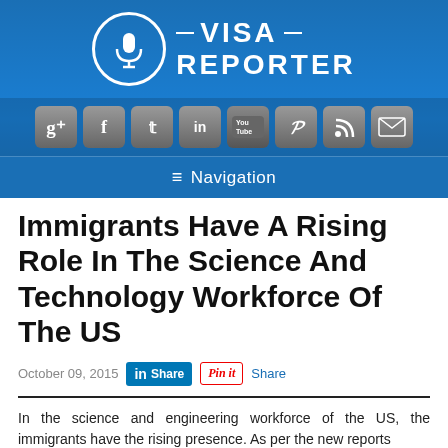[Figure (logo): Visa Reporter logo with microphone icon in circle and text 'VISA REPORTER' with dashes]
[Figure (infographic): Social media icons bar: Google+, Facebook, Twitter, LinkedIn, YouTube, Pinterest, RSS, Email]
≡ Navigation
Immigrants Have A Rising Role In The Science And Technology Workforce Of The US
October 09, 2015
In the science and engineering workforce of the US, the immigrants have the rising presence. As per the new reports